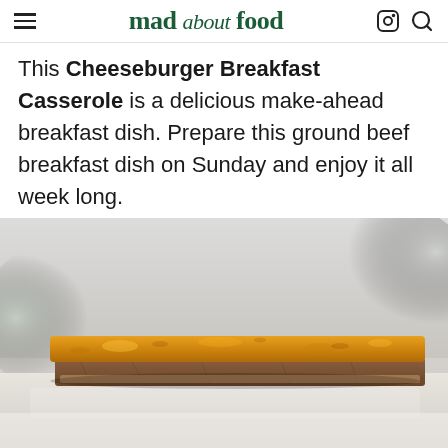mad about food
This Cheeseburger Breakfast Casserole is a delicious make-ahead breakfast dish. Prepare this ground beef breakfast dish on Sunday and enjoy it all week long.
[Figure (photo): A slice of cheeseburger breakfast casserole with golden-orange melted cheese topping on a white surface, blurred light background with soft bokeh]